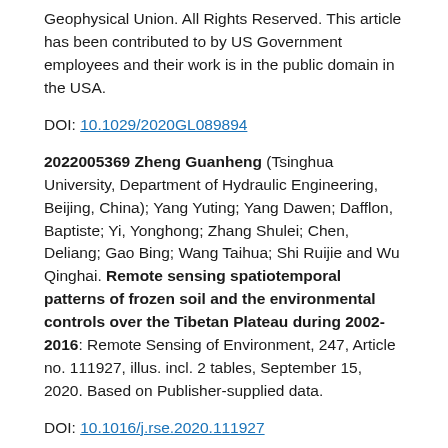Geophysical Union. All Rights Reserved. This article has been contributed to by US Government employees and their work is in the public domain in the USA.
DOI: 10.1029/2020GL089894
2022005369 Zheng Guanheng (Tsinghua University, Department of Hydraulic Engineering, Beijing, China); Yang Yuting; Yang Dawen; Dafflon, Baptiste; Yi, Yonghong; Zhang Shulei; Chen, Deliang; Gao Bing; Wang Taihua; Shi Ruijie and Wu Qinghai. Remote sensing spatiotemporal patterns of frozen soil and the environmental controls over the Tibetan Plateau during 2002-2016: Remote Sensing of Environment, 247, Article no. 111927, illus. incl. 2 tables, September 15, 2020. Based on Publisher-supplied data.
DOI: 10.1016/j.rse.2020.111927
2022006575 Vasiliev, Alexander A. (Tyumen Scientific Center of Siberian Branch of Russian Academy of